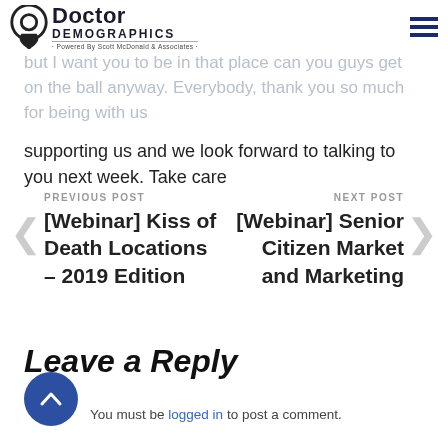Doctor Demographics · Powered By Scott McDonald & Associates
spectacular weekend in which people did the kind of avenge drop out that our podcasts I'm so proud of, but I want you to be in that place can you guys get on the ball anyway. Everybody, thank you so much for being with us supporting us and we look forward to talking to you next week. Take care
PREVIOUS POST [Webinar] Kiss of Death Locations – 2019 Edition
NEXT POST [Webinar] Senior Citizen Market and Marketing
Leave a Reply
You must be logged in to post a comment.